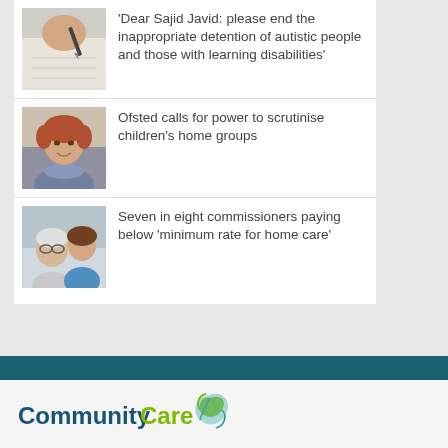'Dear Sajid Javid: please end the inappropriate detention of autistic people and those with learning disabilities'
[Figure (photo): Hands writing on paper with pen]
Ofsted calls for power to scrutinise children's home groups
[Figure (photo): Smiling older woman with short red hair and purple scarf]
Seven in eight commissioners paying below 'minimum rate for home care'
[Figure (photo): Elderly man with glasses being assisted by a younger caregiver]
[Figure (logo): CommunityCare logo with teal Community text, green Care text and leaf graphic]